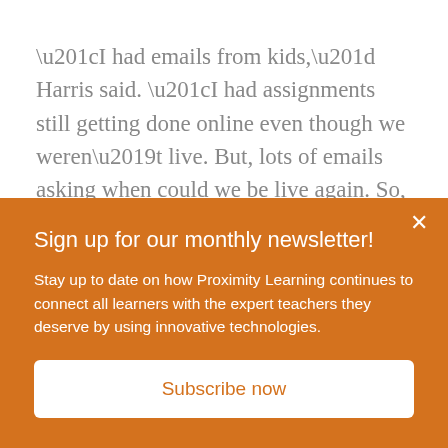“I had emails from kids,” Harris said. “I had assignments still getting done online even though we weren’t live. But, lots of emails asking when could we be live again. So, they missed it.”
With a snap of her fingers, Harris said the abrupt end to the school year has made it
Sign up for our monthly newsletter!
Stay up to date on how Proximity Learning continues to connect all learners with the expert teachers they deserve by using innovative technologies.
Subscribe now